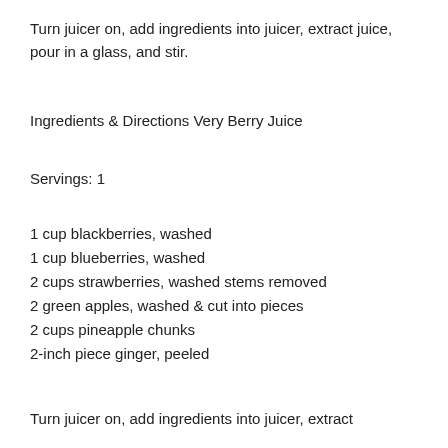Turn juicer on, add ingredients into juicer, extract juice, pour in a glass, and stir.
Ingredients & Directions Very Berry Juice
Servings: 1
1 cup blackberries, washed
1 cup blueberries, washed
2 cups strawberries, washed stems removed
2 green apples, washed & cut into pieces
2 cups pineapple chunks
2-inch piece ginger, peeled
Turn juicer on, add ingredients into juicer, extract